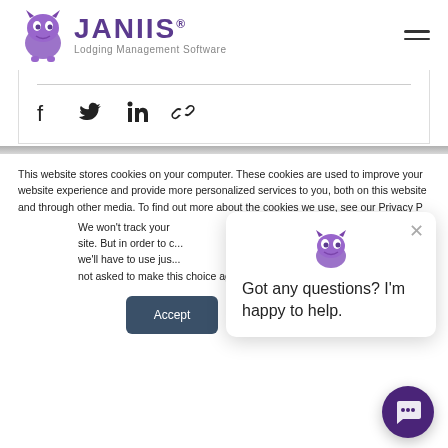[Figure (logo): JANIIS Lodging Management Software logo with purple monster mascot icon and purple bold text]
[Figure (other): Social share icons: Facebook, Twitter, LinkedIn, and link/chain icon]
This website stores cookies on your computer. These cookies are used to improve your website experience and provide more personalized services to you, both on this website and through other media. To find out more about the cookies we use, see our Privacy P...
We won't track your... site. But in order to c... we'll have to use jus... not asked to make this choice again.
[Figure (other): Chat popup with purple mascot icon and message: Got any questions? I'm happy to help.]
Got any questions? I'm happy to help.
[Figure (other): Accept and Decline cookie consent buttons]
[Figure (other): Purple circular chat bubble button in bottom right corner]